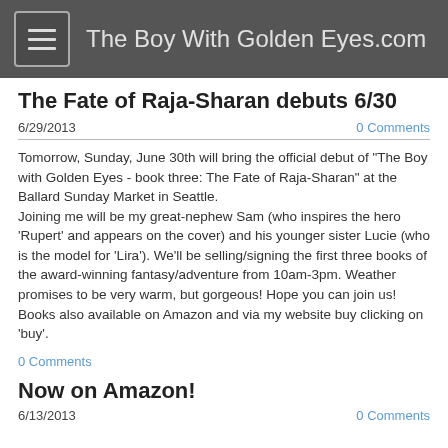The Boy With Golden Eyes.com
The Fate of Raja-Sharan debuts 6/30
6/29/2013
0 Comments
Tomorrow, Sunday, June 30th will bring the official debut of "The Boy with Golden Eyes - book three: The Fate of Raja-Sharan" at the Ballard Sunday Market in Seattle.
Joining me will be my great-nephew Sam (who inspires the hero 'Rupert' and appears on the cover) and his younger sister Lucie (who is the model for 'Lira'). We'll be selling/signing the first three books of the award-winning fantasy/adventure from 10am-3pm. Weather promises to be very warm, but gorgeous! Hope you can join us! Books also available on Amazon and via my website buy clicking on 'buy'.
0 Comments
Now on Amazon!
6/13/2013
0 Comments